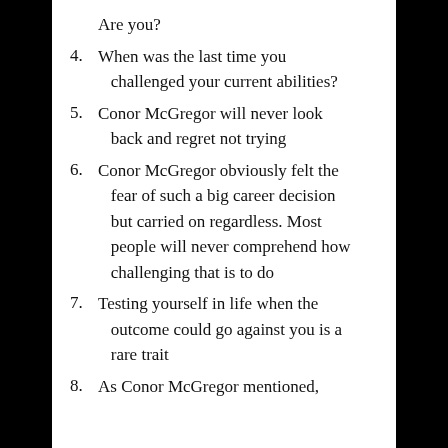Are you?
4. When was the last time you challenged your current abilities?
5. Conor McGregor will never look back and regret not trying
6. Conor McGregor obviously felt the fear of such a big career decision but carried on regardless. Most people will never comprehend how challenging that is to do
7. Testing yourself in life when the outcome could go against you is a rare trait
8. As Conor McGregor mentioned,